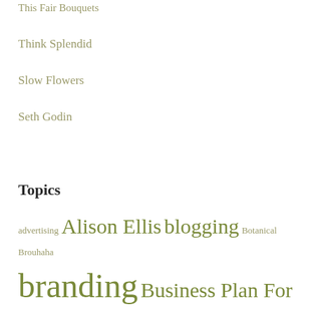This Fair Bouquets
Think Splendid
Slow Flowers
Seth Godin
Topics
advertising Alison Ellis blogging Botanical Brouhaha branding Business Plan For Florists contracts Customer Service design tips e-mail E-mail Templates for Florists Eco-friendly FlirtyFleurs floraculture Floral Artistry